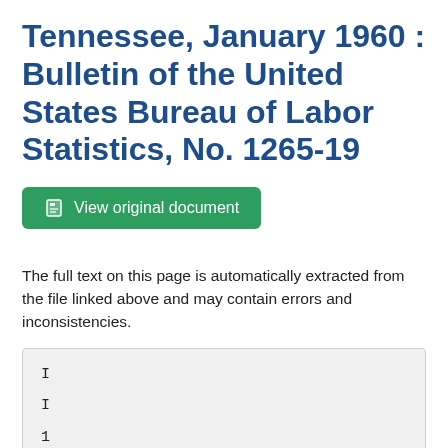Tennessee, January 1960 : Bulletin of the United States Bureau of Labor Statistics, No. 1265-19
View original document
The full text on this page is automatically extracted from the file linked above and may contain errors and inconsistencies.
I
I
1
I